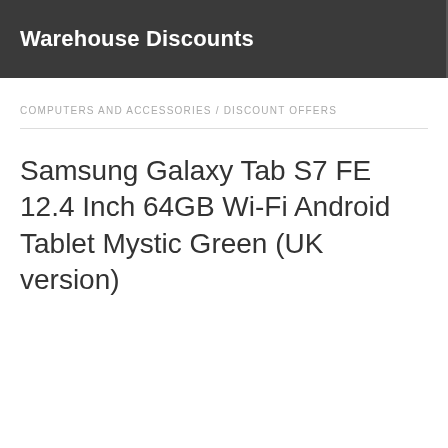Warehouse Discounts
COMPUTERS AND ACCESSORIES / DISCOUNT OFFERS
Samsung Galaxy Tab S7 FE 12.4 Inch 64GB Wi-Fi Android Tablet Mystic Green (UK version)